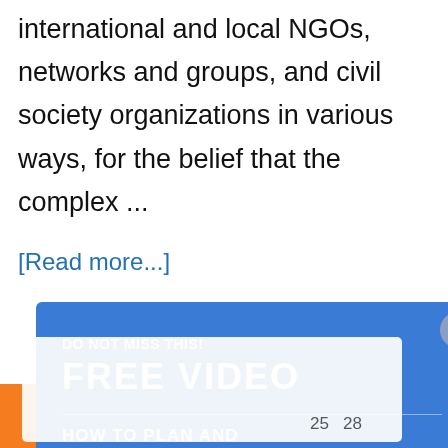international and local NGOs, networks and groups, and civil society organizations in various ways, for the belief that the complex ...
[Read more...]
[Figure (screenshot): Blue advertisement popup overlay: 'DO NOT MISS THIS! FREE VIDEO' with subtext 'HOW TO PLAN AND BUILD THE USAID PROPOSAL' and a PLAY NOW button. A close (X) button in top-right corner.]
e-laws for my
We use cookie to improve your experience on our site. By using our site you consent cookies. Learn more
Allow Cookies
[Figure (screenshot): Orange footer band with a white card overlay showing numbers 25 and 28]